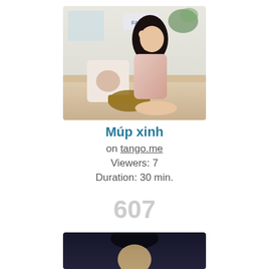[Figure (photo): Young woman in pink satin dress sitting on a beige sofa with decorative pillow and wicker basket, indoor setting with 'FAMILY' sign in background]
Múp xinh
on tango.me
Viewers: 7
Duration: 30 min.
607
[Figure (photo): Person with dark hair against dark background, partially visible at bottom of page]